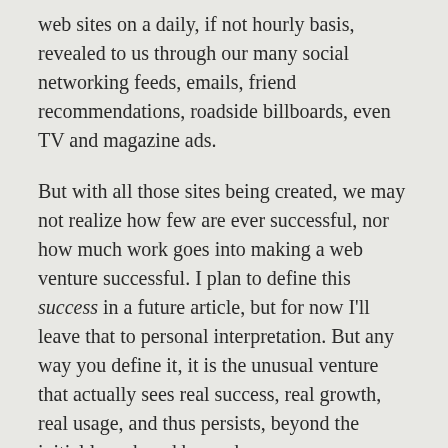web sites on a daily, if not hourly basis, revealed to us through our many social networking feeds, emails, friend recommendations, roadside billboards, even TV and magazine ads.
But with all those sites being created, we may not realize how few are ever successful, nor how much work goes into making a web venture successful. I plan to define this success in a future article, but for now I'll leave that to personal interpretation. But any way you define it, it is the unusual venture that actually sees real success, real growth, real usage, and thus persists, beyond the initial launch and buzz phase.
Many people with a web site idea, but no past experience creating one, fail to realize going into it, just how much work is involved. While the startup